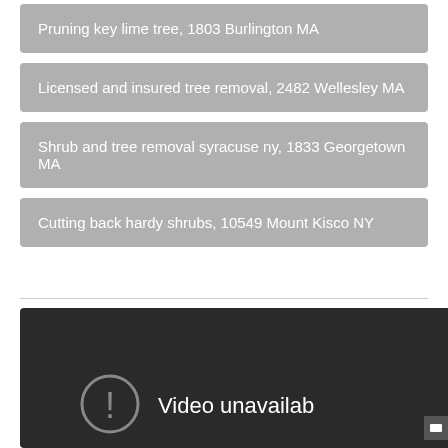Pruning key lime tree, 1803 Burlington MA
Licensed and insured tree removal, 2482 Wellesley MA
Shrub and tree removal syracuse ny, 1833 Georgetown MA
Cutting back hardy shrubs, 10549 Mount Kisco NY
[Figure (screenshot): Video unavailable screen — dark background with an error icon (circle with exclamation mark) and the text 'Video unavailab' visible, with a small icon in the bottom right corner]